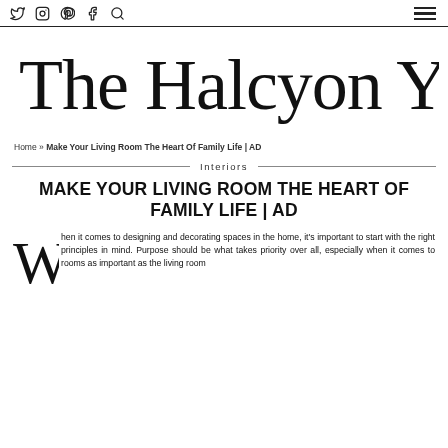Twitter Instagram Pinterest Facebook Search [hamburger menu]
[Figure (logo): The Halcyon Years cursive script logo]
Home » Make Your Living Room The Heart Of Family Life | AD
Interiors
MAKE YOUR LIVING ROOM THE HEART OF FAMILY LIFE | AD
When it comes to designing and decorating spaces in the home, it's important to start with the right principles in mind. Purpose should be what takes priority over all, especially when it comes to rooms as important as the living room